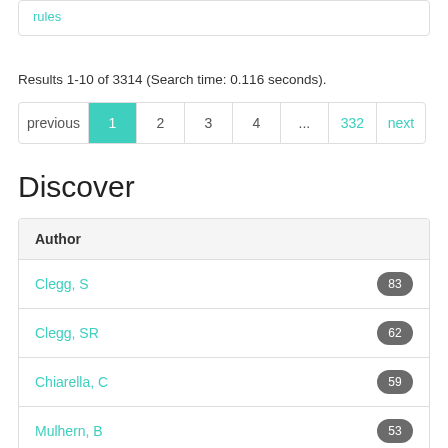rules
Results 1-10 of 3314 (Search time: 0.116 seconds).
previous 1 2 3 4 ... 332 next
Discover
| Author |  |
| --- | --- |
| Clegg, S | 83 |
| Clegg, SR | 62 |
| Chiarella, C | 59 |
| Mulhern, B | 53 |
| Darcy, S | 52 |